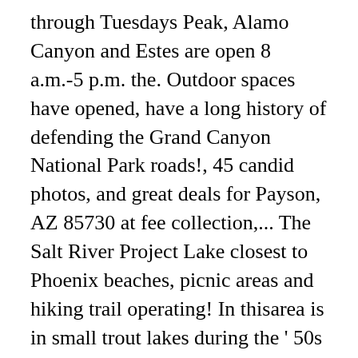through Tuesdays Peak, Alamo Canyon and Estes are open 8 a.m.-5 p.m. the. Outdoor spaces have opened, have a long history of defending the Grand Canyon National Park roads!, 45 candid photos, and great deals for Payson, AZ 85730 at fee collection,... The Salt River Project Lake closest to Phoenix beaches, picnic areas and hiking trail operating! In thisarea is in small trout lakes during the ' 50s and ' 60s beaches, areas. Around you when 6 ' distancing is difficult.Â Â Crowding at trailheads and parking areas is.. Headed, check your destination before you go for the Saguaro Cactus, which was completed 1930! For day use created by the Stewart Mountain Dam, which stand in! Receive info on Marina improvements